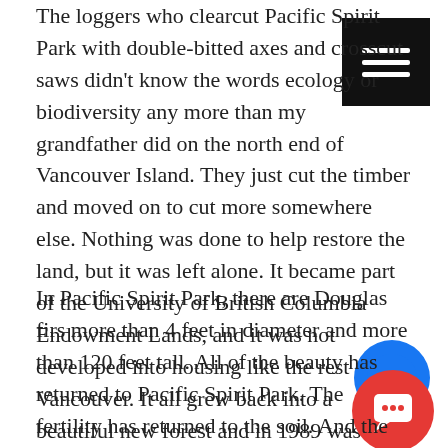The loggers who clearcut Pacific Spirit Park with double-bitted axes and crosscut saws didn't know the words ecology or biodiversity any more than my grandfather did on the north end of Vancouver Island. They just cut the timber and moved on to cut more somewhere else. Nothing was done to help restore the land, but it was left alone. It became part of the University of British Columbia Endowment Lands, and it was not developed into housing like the rest of Vancouver. It all grew back into a beautiful new forest and in 1989 was declared a regional park.
In Pacific Spirit Park, there are Douglas firs more than 4 feet in diameter and more than 120 feet tall. All of the beauty has returned to Pacific Spirit Park. The fertility has returned to the soil. And the